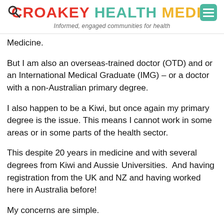CROAKEY HEALTH MEDIA — Informed, engaged communities for health
Medicine.
But I am also an overseas-trained doctor (OTD) and or an International Medical Graduate (IMG) – or a doctor with a non-Australian primary degree.
I also happen to be a Kiwi, but once again my primary degree is the issue. This means I cannot work in some areas or in some parts of the health sector.
This despite 20 years in medicine and with several degrees from Kiwi and Aussie Universities.  And having registration from the UK and NZ and having worked here in Australia before!
My concerns are simple.